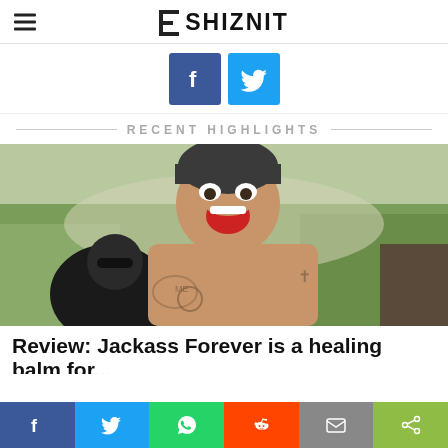SHIZNIT
[Figure (other): Social share buttons: Facebook (blue) and Twitter (light blue)]
RECENT HIGHLIGHTS
[Figure (photo): A shirtless tattooed man with mouth wide open in shock or pain, outdoors with trees in background, another person in sunglasses visible behind him]
Review: Jackass Forever is a healing balm for...
[Figure (other): Bottom share bar with Facebook, Twitter, WhatsApp, Reddit, Email, and Share buttons]